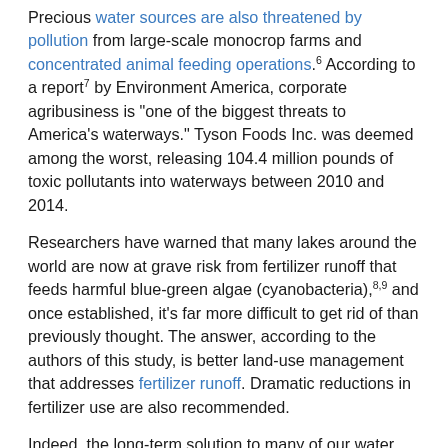Precious water sources are also threatened by pollution from large-scale monocrop farms and concentrated animal feeding operations.6 According to a report7 by Environment America, corporate agribusiness is "one of the biggest threats to America's waterways." Tyson Foods Inc. was deemed among the worst, releasing 104.4 million pounds of toxic pollutants into waterways between 2010 and 2014.
Researchers have warned that many lakes around the world are now at grave risk from fertilizer runoff that feeds harmful blue-green algae (cyanobacteria),8,9 and once established, it's far more difficult to get rid of than previously thought. The answer, according to the authors of this study, is better land-use management that addresses fertilizer runoff. Dramatic reductions in fertilizer use are also recommended.
Indeed, the long-term solution to many of our water quality and water scarcity issues is to phase out the use of toxic pesticides, chemical fertilizers and soil additives, and to grow crops and raise food animals in such a way that the farm contributes to the overall health and balance of the environment rather than polluting it and creating a dysfunctional ecosystem.